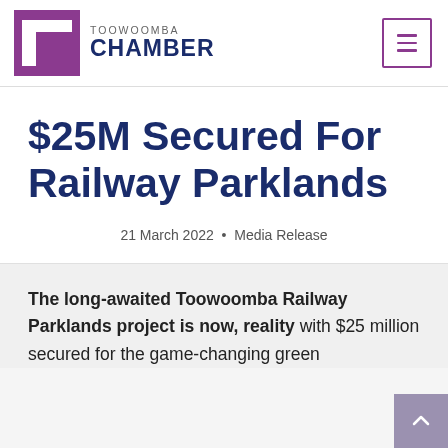[Figure (logo): Toowoomba Chamber logo: purple stylized T icon and text 'TOOWOOMBA CHAMBER']
$25M Secured For Railway Parklands
21 March 2022 • Media Release
The long-awaited Toowoomba Railway Parklands project is now, reality with $25 million secured for the game-changing green